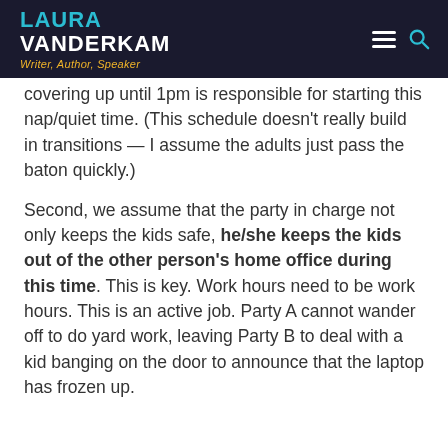LAURA VANDERKAM Writer, Author, Speaker
covering up until 1pm is responsible for starting this nap/quiet time. (This schedule doesn't really build in transitions — I assume the adults just pass the baton quickly.)
Second, we assume that the party in charge not only keeps the kids safe, he/she keeps the kids out of the other person's home office during this time. This is key. Work hours need to be work hours. This is an active job. Party A cannot wander off to do yard work, leaving Party B to deal with a kid banging on the door to announce that the laptop has frozen up.